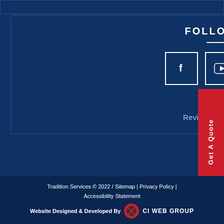FOLLOW US
[Figure (illustration): Three social media icon buttons in white-bordered squares: Facebook (f), YouTube (play button), Instagram (camera)]
Review Us On Google
Get A Quote
Tradition Services © 2022 / Sitemap | Privacy Policy | Accessibility Statement
Website Designed & Developed By CI WEB GROUP